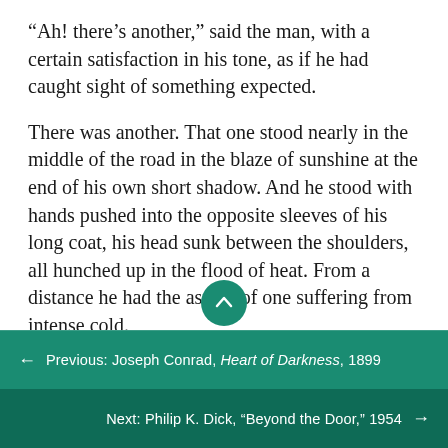“Ah! there’s another,” said the man, with a certain satisfaction in his tone, as if he had caught sight of something expected.
There was another. That one stood nearly in the middle of the road in the blaze of sunshine at the end of his own short shadow. And he stood with hands pushed into the opposite sleeves of his long coat, his head sunk between the shoulders, all hunched up in the flood of heat. From a distance he had the aspect of one suffering from intense cold.
“Those are twins,” explained the driver.
← Previous: Joseph Conrad, Heart of Darkness, 1899
Next: Philip K. Dick, “Beyond the Door,” 1954 →